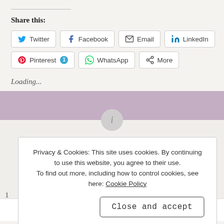Share this:
Twitter
Facebook
Email
LinkedIn
Pinterest 1
WhatsApp
More
Loading...
Privacy & Cookies: This site uses cookies. By continuing to use this website, you agree to their use.
To find out more, including how to control cookies, see here: Cookie Policy
Close and accept
1
[Figure (screenshot): Ad banner for ad-free browsing at $4.99 a month]